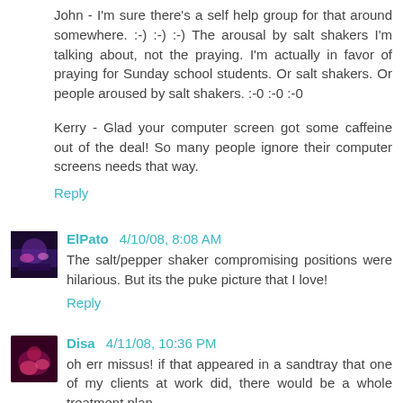John - I'm sure there's a self help group for that around somewhere. :-) :-) :-) The arousal by salt shakers I'm talking about, not the praying. I'm actually in favor of praying for Sunday school students. Or salt shakers. Or people aroused by salt shakers. :-0 :-0 :-0
Kerry - Glad your computer screen got some caffeine out of the deal! So many people ignore their computer screens needs that way.
Reply
ElPato  4/10/08, 8:08 AM
The salt/pepper shaker compromising positions were hilarious. But its the puke picture that I love!
Reply
Disa  4/11/08, 10:36 PM
oh err missus! if that appeared in a sandtray that one of my clients at work did, there would be a whole treatment plan